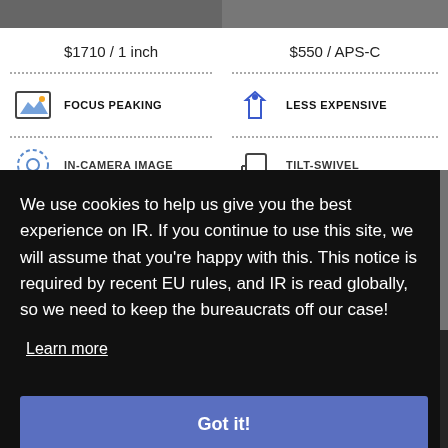$1710 / 1 inch
$550 / APS-C
FOCUS PEAKING
LESS EXPENSIVE
IN-CAMERA IMAGE
TILT-SWIVEL
We use cookies to help us give you the best experience on IR. If you continue to use this site, we will assume that you're happy with this. This notice is required by recent EU rules, and IR is read globally, so we need to keep the bureaucrats off our case!
Learn more
Got it!